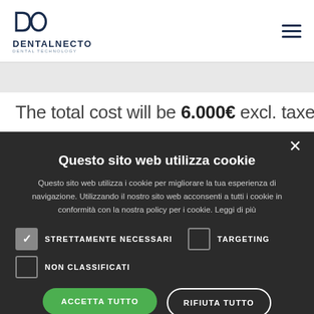[Figure (logo): DentalNecto logo with stylized D and O icon and text DENTALNECTO below]
The total cost will be 6.000€ excl. taxes. And it
Questo sito web utilizza cookie
Questo sito web utilizza i cookie per migliorare la tua esperienza di navigazione. Utilizzando il nostro sito web acconsenti a tutti i cookie in conformità con la nostra policy per i cookie. Leggi di più
STRETTAMENTE NECESSARI
TARGETING
NON CLASSIFICATI
ACCETTA TUTTO
RIFIUTA TUTTO
MOSTRA DETTAGLI